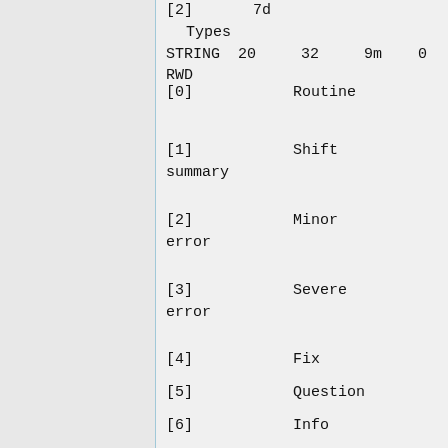[2]    Td
    Types
STRING 20  32  9m  0
RWD
[0]    Routine
[1]    Shift
summary
[2]    Minor
error
[3]    Severe
error
[4]    Fix
[5]    Question
[6]    Info
[7]    Modification
[8]    ...